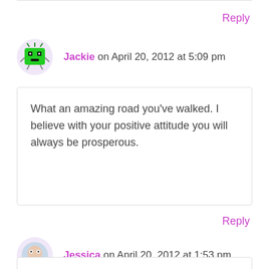Reply
Jackie on April 20, 2012 at 5:09 pm
What an amazing road you've walked. I believe with your positive attitude you will always be prosperous.
Reply
Jessica on April 20, 2012 at 1:53 pm
What an amazing story – so full of courage, faith, and optimism! It's an inspiration. I love